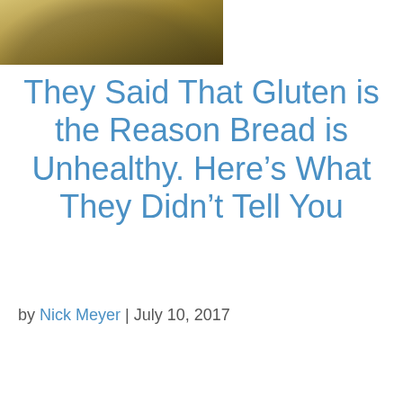[Figure (photo): Close-up photo of what appears to be a loaf of bread or baked good, dark golden-brown tones, cropped at the top of the page]
They Said That Gluten is the Reason Bread is Unhealthy. Here's What They Didn't Tell You
by Nick Meyer | July 10, 2017